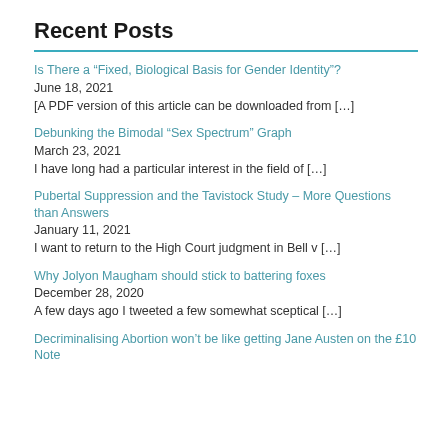Recent Posts
Is There a “Fixed, Biological Basis for Gender Identity”?
June 18, 2021
[A PDF version of this article can be downloaded from […]
Debunking the Bimodal “Sex Spectrum” Graph
March 23, 2021
I have long had a particular interest in the field of […]
Pubertal Suppression and the Tavistock Study – More Questions than Answers
January 11, 2021
I want to return to the High Court judgment in Bell v […]
Why Jolyon Maugham should stick to battering foxes
December 28, 2020
A few days ago I tweeted a few somewhat sceptical […]
Decriminalising Abortion won’t be like getting Jane Austen on the £10 Note